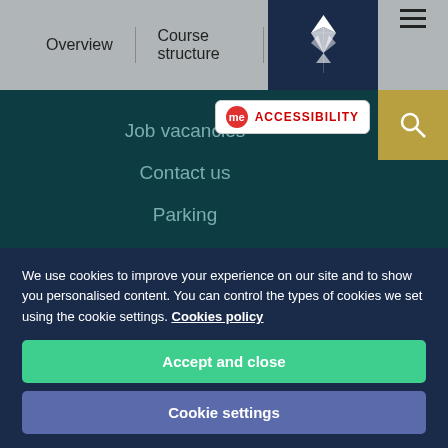Overview | Course structure
Job vacancies
Contact us
Parking
MORE INFO?
We use cookies to improve your experience on our site and to show you personalised content. You can control the types of cookies we set using the cookie settings. Cookies policy
Accept and close
Cookie settings